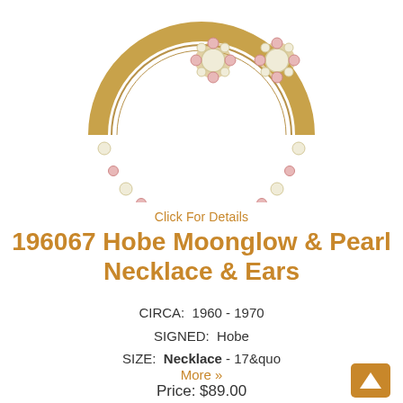[Figure (photo): Gold-tone crescent/collar necklace with pink moonglow beads and pearl beads, and matching cluster earrings with pink and pearl beads on a white background]
Click For Details
196067 Hobe Moonglow & Pearl Necklace & Ears
CIRCA: 1960 - 1970
SIGNED: Hobe
SIZE: Necklace - 17&quo
More »
Price: $89.00